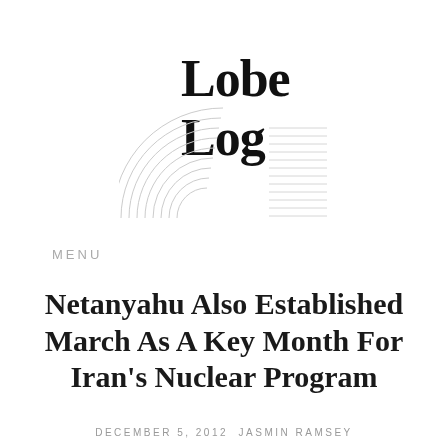[Figure (logo): Lobe Log logo with serif text 'Lobe Log' and decorative arc lines and horizontal lines forming a graphic element]
MENU
Netanyahu Also Established March As A Key Month For Iran's Nuclear Program
DECEMBER 5, 2012  JASMIN RAMSEY